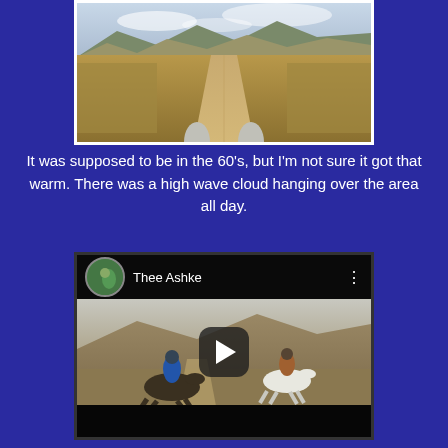[Figure (photo): A photo taken from horseback (horse ears visible at bottom) looking down a dirt trail stretching into the distance, with dry grassy fields on either side, mountains in the background, and a cloudy sky above.]
It was supposed to be in the 60's, but I'm not sure it got that warm. There was a high wave cloud hanging over the area all day.
[Figure (screenshot): A YouTube video thumbnail showing two riders on horseback galloping along a dirt trail through hilly terrain. The video header shows a circular channel icon and the channel name 'Thee Ashke' with a menu icon. A play button is overlaid in the center. The bottom bar is dark/black.]